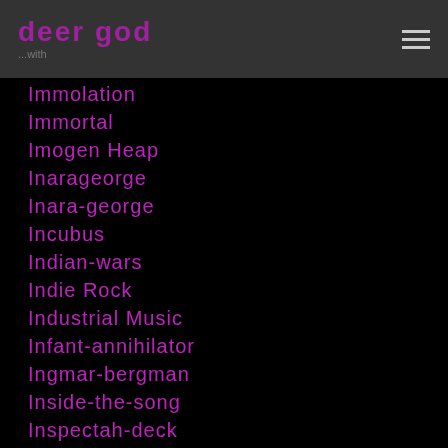deer god
Immolation
Immortal
Imogen Heap
Inarageorge
Inara-george
Incubus
Indian-wars
Indie Rock
Industrial Music
Infant-annihilator
Ingmar-bergman
Inside-the-song
Inspectah-deck
Inspirit
Interpol
Interrupters
Into-the-wild